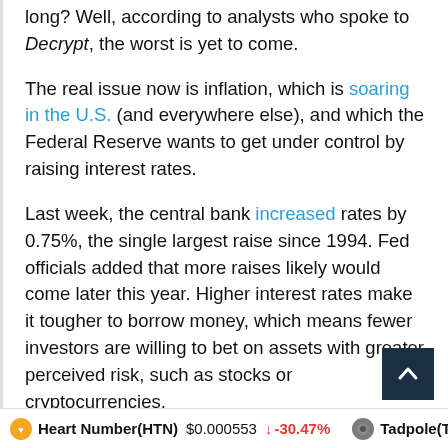long? Well, according to analysts who spoke to Decrypt, the worst is yet to come.
The real issue now is inflation, which is soaring in the U.S. (and everywhere else), and which the Federal Reserve wants to get under control by raising interest rates.
Last week, the central bank increased rates by 0.75%, the single largest raise since 1994. Fed officials added that more raises likely would come later this year. Higher interest rates make it tougher to borrow money, which means fewer investors are willing to bet on assets with greater perceived risk, such as stocks or cryptocurrencies.
Heart Number(HTN) $0.000553 ↓ -30.47%   Tadpole(T